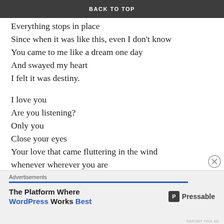BACK TO TOP
Everything stops in place
Since when it was like this, even I don't know
You came to me like a dream one day
And swayed my heart
I felt it was destiny.

I love you
Are you listening?
Only you
Close your eyes
Your love that came fluttering in the wind
whenever wherever you are
whenever wherever you are
oh oh oh love love love
Advertisements
The Platform Where WordPress Works Best
Pressable